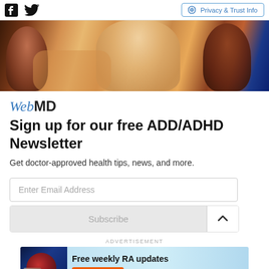Facebook | Twitter | Privacy & Trust Info
[Figure (photo): Banner photo showing three young people, likely students, in a classroom or study setting]
WebMD
Sign up for our free ADD/ADHD Newsletter
Get doctor-approved health tips, news, and more.
Enter Email Address
Subscribe
ADVERTISEMENT
[Figure (infographic): Advertisement banner for Free weekly RA updates from WebMD Newsletters with a Subscribe button]